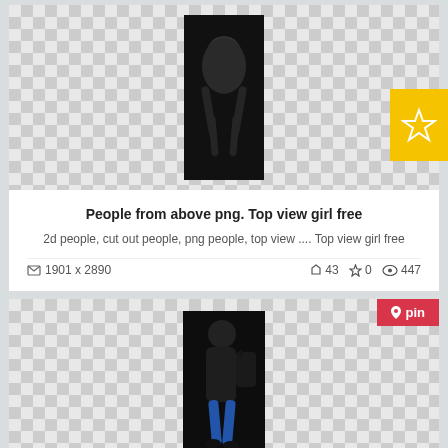[Figure (photo): Person photographed from above on transparent/dark background - top view girl]
People from above png. Top view girl free
2d people, cut out people, png people, top view .... Top view girl free
1901 x 2890   43  0  447
[Figure (photo): Walking couple top view on dark background - person with bag walking]
People from above png. Walking couple top view
2d people .... Walking couple top view